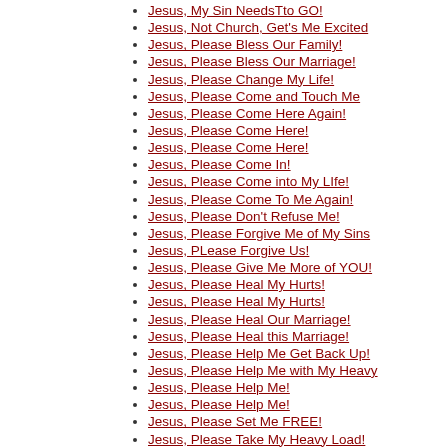Jesus, My Sin NeedsTto GO!
Jesus, Not Church, Get's Me Excited
Jesus, Please Bless Our Family!
Jesus, Please Bless Our Marriage!
Jesus, Please Change My Life!
Jesus, Please Come and Touch Me
Jesus, Please Come Here Again!
Jesus, Please Come Here!
Jesus, Please Come Here!
Jesus, Please Come In!
Jesus, Please Come into My LIfe!
Jesus, Please Come To Me Again!
Jesus, Please Don't Refuse Me!
Jesus, Please Forgive Me of My Sins
Jesus, PLease Forgive Us!
Jesus, Please Give Me More of YOU!
Jesus, Please Heal My Hurts!
Jesus, Please Heal My Hurts!
Jesus, Please Heal Our Marriage!
Jesus, Please Heal this Marriage!
Jesus, Please Help Me Get Back Up!
Jesus, Please Help Me with My Heavy
Jesus, Please Help Me!
Jesus, Please Help Me!
Jesus, Please Set Me FREE!
Jesus, Please Take My Heavy Load!
Jesus, Please Take the "Junk In My
Jesus, Please Take the Garbage Out!
Jesus, Please Take This Life Filled
Jesus, Please Take What You want!